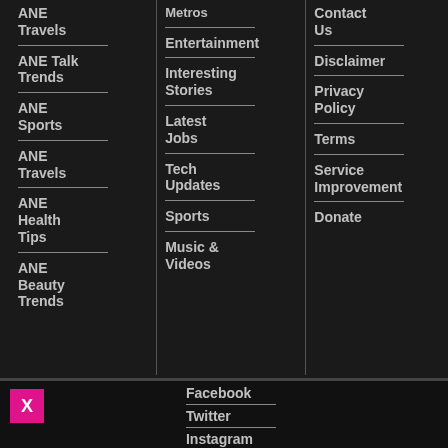ANE Travels
ANE Talk Trends
ANE Sports
ANE Travels
ANE Health Tips
ANE Beauty Trends
Metros
Entertainment
Interesting Stories
Latest Jobs
Tech Updates
Sports
Music & Videos
Contact Us
Disclaimer
Privacy Policy
Terms
Service Improvement
Donate
Facebook
Twitter
Instagram